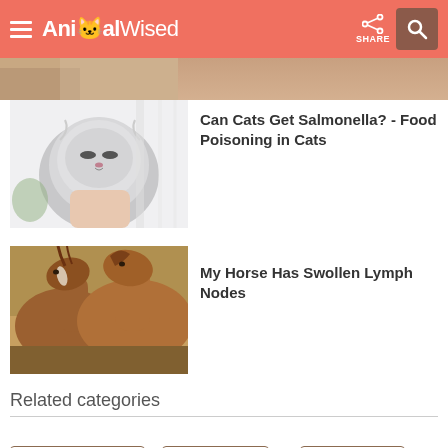AnimalWised
[Figure (photo): Partial image of a person holding an animal, cropped at top]
[Figure (photo): Fluffy grey-white cat with eyes partially closed, being held by a hand]
Can Cats Get Salmonella? - Food Poisoning in Cats
[Figure (photo): Two brown horses facing each other closely, one with a white blaze]
My Horse Has Swollen Lymph Nodes
Related categories
Intestinal problems
Viral diseases
Eye problems